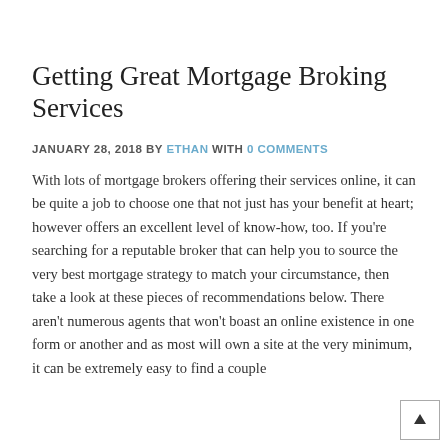Getting Great Mortgage Broking Services
JANUARY 28, 2018 BY ETHAN WITH 0 COMMENTS
With lots of mortgage brokers offering their services online, it can be quite a job to choose one that not just has your benefit at heart; however offers an excellent level of know-how, too. If you're searching for a reputable broker that can help you to source the very best mortgage strategy to match your circumstance, then take a look at these pieces of recommendations below.
There aren't numerous agents that won't boast an online existence in one form or another and as most will own a site at the very minimum, it can be extremely easy to find a couple